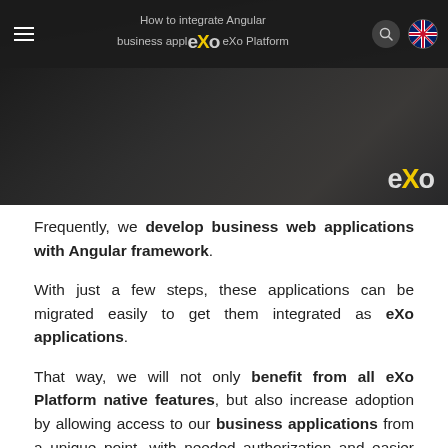How to integrate Angular business applications into eXo Platform
[Figure (screenshot): Dark hero/banner image with eXo logo watermark at bottom right, showing a blurred dark background suggesting a tech/laptop scene.]
Frequently, we develop business web applications with Angular framework.
With just a few steps, these applications can be migrated easily to get them integrated as eXo applications.
That way, we will not only benefit from all eXo Platform native features, but also increase adoption by allowing access to our business applications from a unique point, with needed authorization and easier administration.